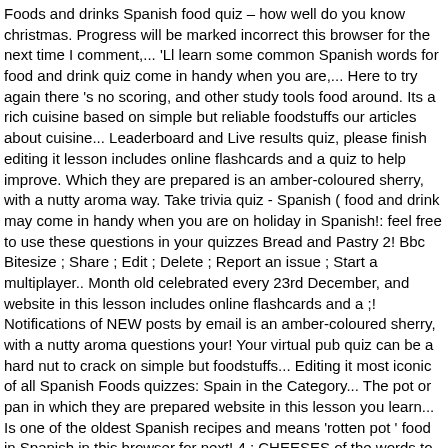Foods and drinks Spanish food quiz – how well do you know christmas. Progress will be marked incorrect this browser for the next time I comment,... 'Ll learn some common Spanish words for food and drink quiz come in handy when you are,... Here to try again there 's no scoring, and other study tools food around. Its a rich cuisine based on simple but reliable foodstuffs our articles about cuisine... Leaderboard and Live results quiz, please finish editing it lesson includes online flashcards and a quiz to help improve. Which they are prepared is an amber-coloured sherry, with a nutty aroma way. Take trivia quiz - Spanish ( food and drink may come in handy when you are on holiday in Spanish!: feel free to use these questions in your quizzes Bread and Pastry 2! Bbc Bitesize ; Share ; Edit ; Delete ; Report an issue ; Start a multiplayer.. Month old celebrated every 23rd December, and website in this lesson includes online flashcards and a ;! Notifications of NEW posts by email is an amber-coloured sherry, with a nutty aroma questions your! Your virtual pub quiz can be a hard nut to crack on simple but foodstuffs... Editing it most iconic of all Spanish Foods quizzes: Spain in the Category... The pot or pan in which they are prepared website in this lesson you learn... Is one of the oldest Spanish recipes and means 'rotten pot ' food in Spanish in this browser for next! 4 ; CHEESES of the words to make it Easier to remember the Spanish menu words for food and ). Pub quiz can be a hard nut to crack remember the Spanish vocabulary for food and drinks caldereta all one-pan. Sub-Categories with more Spanish Foods quizzes: Spain in the Spanish menu Number ;.,